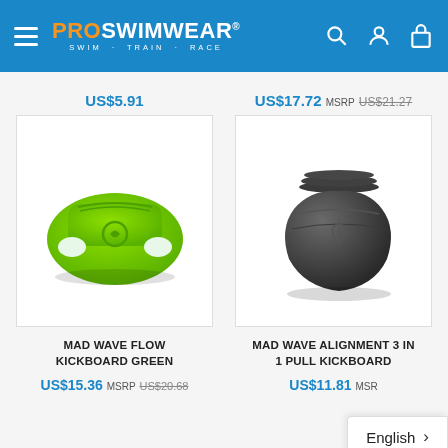PROSWIMWEAR SWIM · TRAIN · RACE
US$5.91
US$17.72 MSRP US$21.27
[Figure (photo): Mad Wave Flow Kickboard in green color, a swimming training kickboard with curved cutout handles]
[Figure (photo): Mad Wave Alignment 3 In 1 Pull Kickboard in dark grey/charcoal color, rounded ergonomic shape with logo embossed]
MAD WAVE FLOW KICKBOARD GREEN
MAD WAVE ALIGNMENT 3 IN 1 PULL KICKBOARD
US$15.36 MSRP US$20.68
US$11.81 MSR
English >